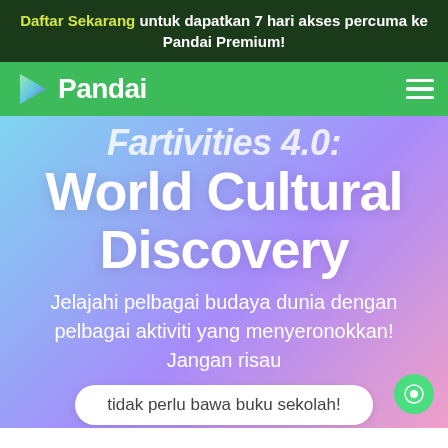Daftar Sekarang untuk dapatkan 7 hari akses percuma ke Pandai Premium!
[Figure (logo): Pandai logo with green icon and white navigation bar with hamburger menu]
World Cultural Discovery
Jelajahi pelbagai budaya dunia dengan pelbagai aktiviti yang menyeronokkan! Jangan risau
tidak perlu bawa buku sekolah!